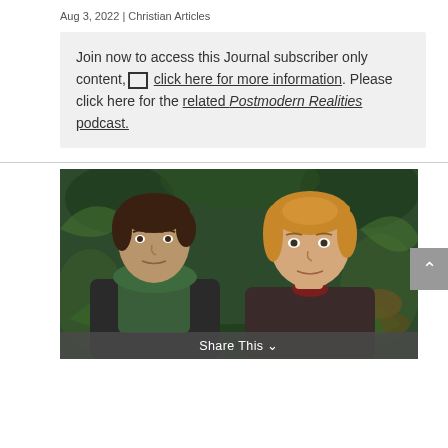Aug 3, 2022 | Christian Articles
Join now to access this Journal subscriber only content, click here for more information. Please click here for the related Postmodern Realities podcast.
[Figure (photo): Promotional photo of two actors — a dark-haired man wearing a green scarf and a blonde woman — posed against a dark green floral background.]
Share This